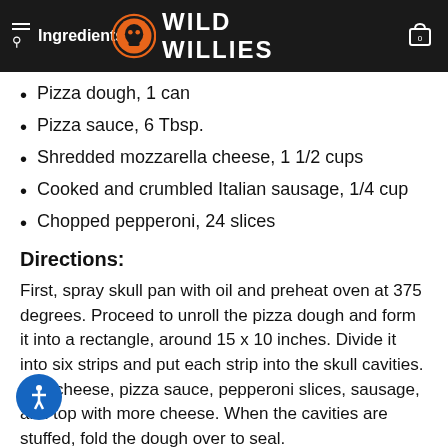Ingredients: WILD WILLIES
Pizza dough, 1 can
Pizza sauce, 6 Tbsp.
Shredded mozzarella cheese, 1 1/2 cups
Cooked and crumbled Italian sausage, 1/4 cup
Chopped pepperoni, 24 slices
Directions:
First, spray skull pan with oil and preheat oven at 375 degrees. Proceed to unroll the pizza dough and form it into a rectangle, around 15 x 10 inches. Divide it into six strips and put each strip into the skull cavities. Add cheese, pizza sauce, pepperoni slices, sausage, and top with more cheese. When the cavities are stuffed, fold the dough over to seal.